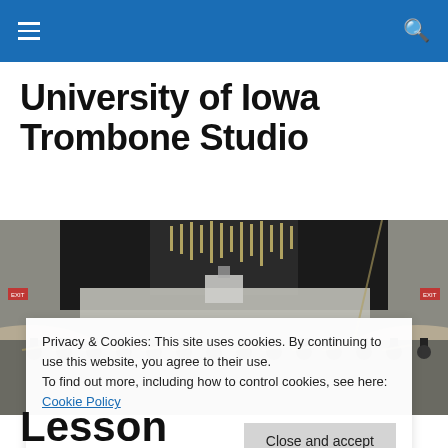University of Iowa Trombone Studio — navigation bar
University of Iowa Trombone Studio
[Figure (photo): Musicians seated in a concert hall performing with trombones, modern venue with organ pipes and chandelier visible on stage.]
Privacy & Cookies: This site uses cookies. By continuing to use this website, you agree to their use. To find out more, including how to control cookies, see here: Cookie Policy
Close and accept
Lesson